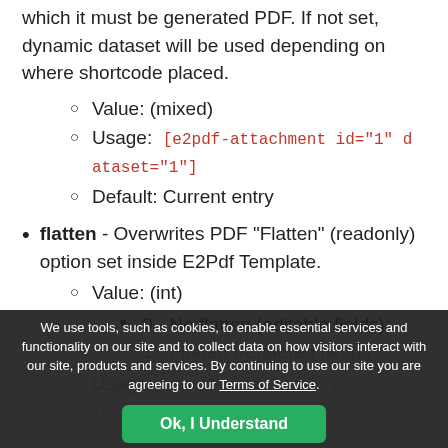which it must be generated PDF. If not set, dynamic dataset will be used depending on where shortcode placed.
Value: (mixed)
Usage: [e2pdf-attachment id="1" dataset="1"]
Default: Current entry
flatten - Overwrites PDF "Flatten" (readonly) option set inside E2Pdf Template.
Value: (int)
0 - No flatten (editable fields);
1 - Flatten (rendered fields);
Usage: [e2pdf-attachment id="1" flatten=...
We use tools, such as cookies, to enable essential services and functionality on our site and to collect data on how visitors interact with our site, products and services. By continuing to use our site you are agreeing to our Terms of Service.